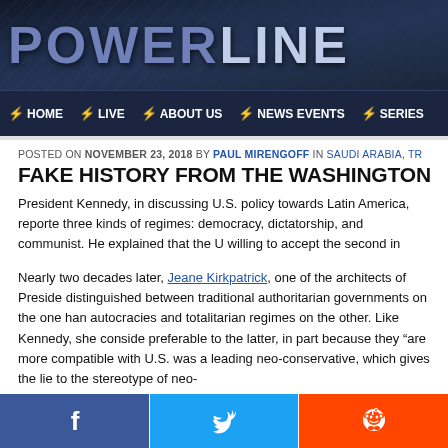POWERLINE
HOME  LIVE  ABOUT US  NEWS EVENTS  SERIES
POSTED ON NOVEMBER 23, 2018 BY PAUL MIRENGOFF IN SAUDI ARABIA, TR
FAKE HISTORY FROM THE WASHINGTON P
President Kennedy, in discussing U.S. policy towards Latin America, reported three kinds of regimes: democracy, dictatorship, and communist. He explained that the U.S. was willing to accept the second in order to avoid the third.
Nearly two decades later, Jeane Kirkpatrick, one of the architects of President Reagan's foreign policy, distinguished between traditional authoritarian governments on the one hand and revolutionary autocracies and totalitarian regimes on the other. Like Kennedy, she considered the former preferable to the latter, in part because they "are more compatible with U.S. interests." Kirkpatrick was a leading neo-conservative, which gives the lie to the stereotype of neo-